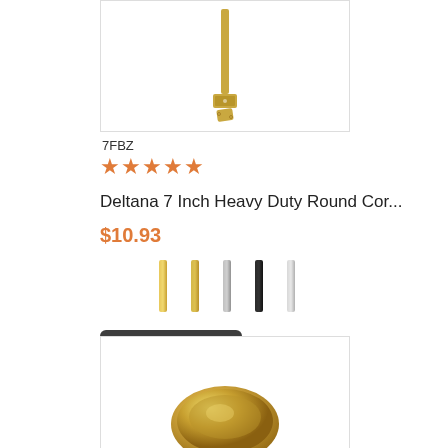[Figure (photo): Product image of a brass hinge/corner bolt hardware piece on white background with border]
7FBZ
★★★★★
Deltana 7 Inch Heavy Duty Round Cor...
$10.93
[Figure (illustration): Five color swatches showing finish options: polished brass, satin brass, satin nickel/chrome, black, and chrome]
Select Options
[Figure (photo): Product image of a round polished brass flush pull hardware piece on white background with border]